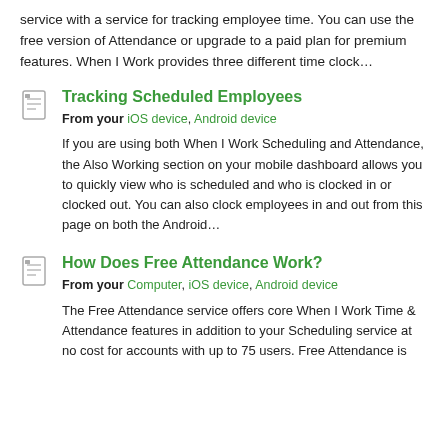service with a service for tracking employee time. You can use the free version of Attendance or upgrade to a paid plan for premium features. When I Work provides three different time clock…
Tracking Scheduled Employees
From your iOS device, Android device
If you are using both When I Work Scheduling and Attendance, the Also Working section on your mobile dashboard allows you to quickly view who is scheduled and who is clocked in or clocked out. You can also clock employees in and out from this page on both the Android…
How Does Free Attendance Work?
From your Computer, iOS device, Android device
The Free Attendance service offers core When I Work Time & Attendance features in addition to your Scheduling service at no cost for accounts with up to 75 users. Free Attendance is